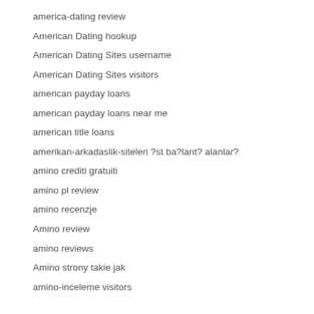america-dating review
American Dating hookup
American Dating Sites username
American Dating Sites visitors
american payday loans
american payday loans near me
american title loans
amerikan-arkadaslik-siteleri ?st ba?lant? alanlar?
amino crediti gratuiti
amino pl review
amino recenzje
Amino review
amino reviews
Amino strony takie jak
amino-inceleme visitors